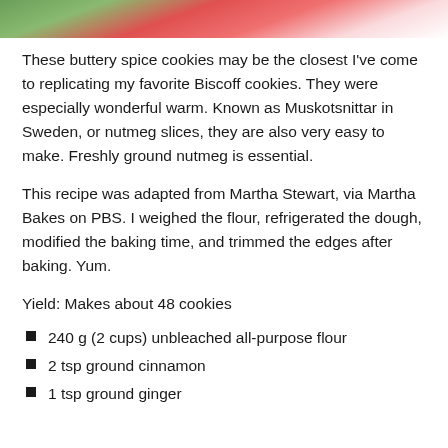[Figure (photo): Partial top edge of a photo showing cookies decorated with red and green, partially cropped at the top of the page.]
These buttery spice cookies may be the closest I've come to replicating my favorite Biscoff cookies. They were especially wonderful warm. Known as Muskotsnittar in Sweden, or nutmeg slices, they are also very easy to make. Freshly ground nutmeg is essential.
This recipe was adapted from Martha Stewart, via Martha Bakes on PBS. I weighed the flour, refrigerated the dough, modified the baking time, and trimmed the edges after baking. Yum.
Yield: Makes about 48 cookies
240 g (2 cups) unbleached all-purpose flour
2 tsp ground cinnamon
1 tsp ground ginger